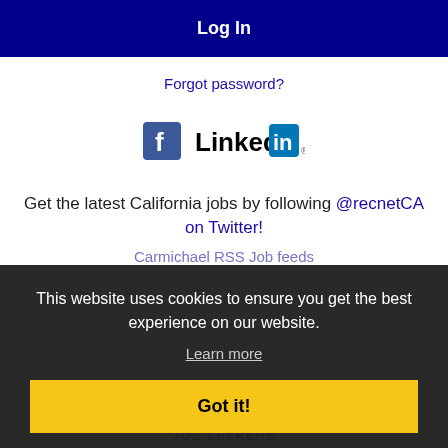Log In
Forgot password?
[Figure (logo): Facebook logo icon and LinkedIn logo side by side]
Get the latest California jobs by following @recnetCA on Twitter!
Carmichael RSS Job feeds
This website uses cookies to ensure you get the best experience on our website.
Learn more
Got it!
JOB SEEKERS